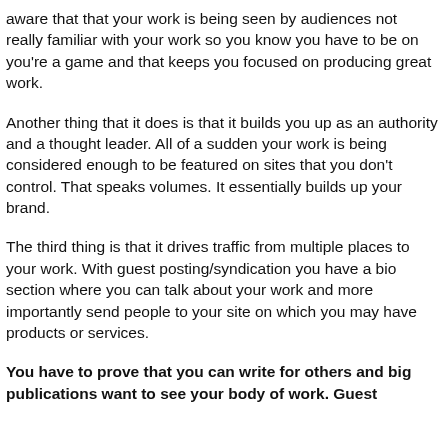aware that that your work is being seen by audiences not really familiar with your work so you know you have to be on you're a game and that keeps you focused on producing great work.
Another thing that it does is that it builds you up as an authority and a thought leader. All of a sudden your work is being considered enough to be featured on sites that you don't control. That speaks volumes. It essentially builds up your brand.
The third thing is that it drives traffic from multiple places to your work. With guest posting/syndication you have a bio section where you can talk about your work and more importantly send people to your site on which you may have products or services.
You have to prove that you can write for others and big publications want to see your body of work. Guest